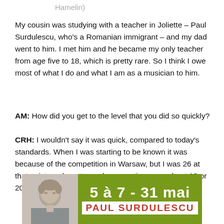Hamelin)
My cousin was studying with a teacher in Joliette – Paul Surdulescu, who's a Romanian immigrant – and my dad went to him. I met him and he became my only teacher from age five to 18, which is pretty rare. So I think I owe most of what I do and what I am as a musician to him.
AM: How did you get to the level that you did so quickly?
CRH: I wouldn't say it was quick, compared to today's standards. When I was starting to be known it was because of the competition in Warsaw, but I was 26 at that point, and most people competing were about 19 or 20.
[Figure (infographic): Advertisement banner showing a man's photo on the left and green background with white text '5 à 7 - 31 mai' and red text 'PAUL SURDULESCU' on white background on the right.]